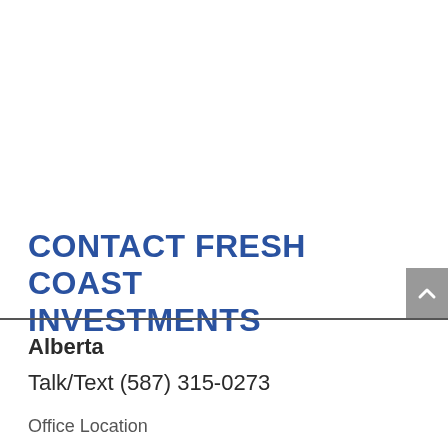CONTACT FRESH COAST INVESTMENTS
Alberta
Talk/Text (587) 315-0273
Office Location